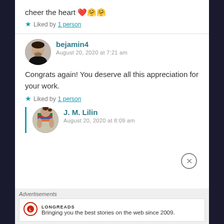cheer the heart ❤️🤗🤗
★ Liked by 1 person
bejamin4
August 20, 2020 at 7:21 am
Congrats again! You deserve all this appreciation for your work.
★ Liked by 1 person
J. M. Lilin
August 20, 2020 at 8:09 am
Advertisements
LONGREADS
Bringing you the best stories on the web since 2009.